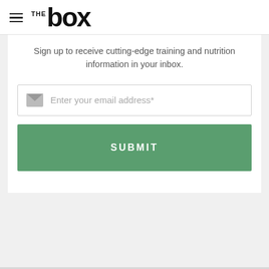[Figure (logo): THE BOX logo with hamburger menu icon to the left]
Sign up to receive cutting-edge training and nutrition information in your inbox.
Enter your email address*
SUBMIT